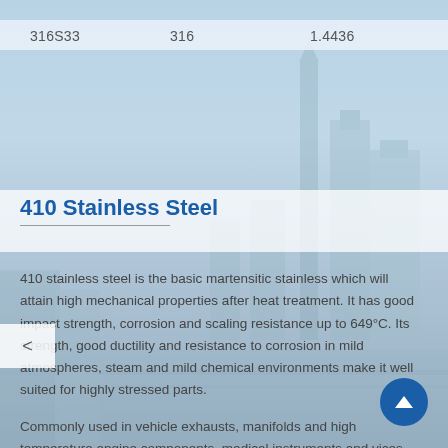316S33    316    1.4436
410 Stainless Steel
410 stainless steel is the basic martensitic stainless which will attain high mechanical properties after heat treatment. It has good impact strength, corrosion and scaling resistance up to 649°C. Its strength, good ductility and resistance to corrosion in mild atmospheres, steam and mild chemical environments make it well suited for highly stressed parts.
Commonly used in vehicle exhausts, manifolds and high temperature engine components, medical instruments and vices and petro-chemical applications.
All stainless stock can be delivered mirror polished if